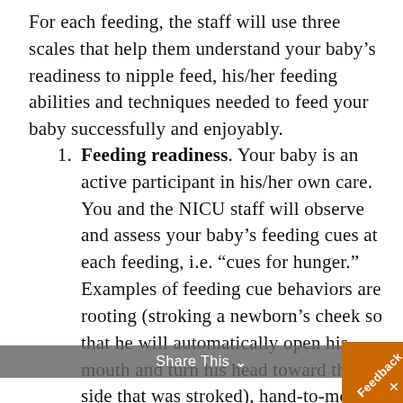For each feeding, the staff will use three scales that help them understand your baby's readiness to nipple feed, his/her feeding abilities and techniques needed to feed your baby successfully and enjoyably.
Feeding readiness. Your baby is an active participant in his/her own care. You and the NICU staff will observe and assess your baby's feeding cues at each feeding, i.e. “cues for hunger.” Examples of feeding cue behaviors are rooting (stroking a newborn’s cheek so that he will automatically open his mouth and turn his head toward the side that was stroked), hand-to-mouth movements, vigorous sucking on pacifier without satisfaction, and crying.